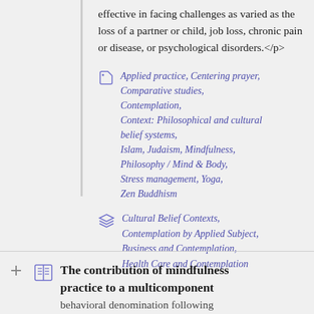effective in facing challenges as varied as the loss of a partner or child, job loss, chronic pain or disease, or psychological disorders.</p>
Applied practice, Centering prayer, Comparative studies, Contemplation, Context: Philosophical and cultural belief systems, Islam, Judaism, Mindfulness, Philosophy / Mind & Body, Stress management, Yoga, Zen Buddhism
Cultural Belief Contexts, Contemplation by Applied Subject, Business and Contemplation, Health Care and Contemplation
The contribution of mindfulness practice to a multicomponent behavioral denomination following